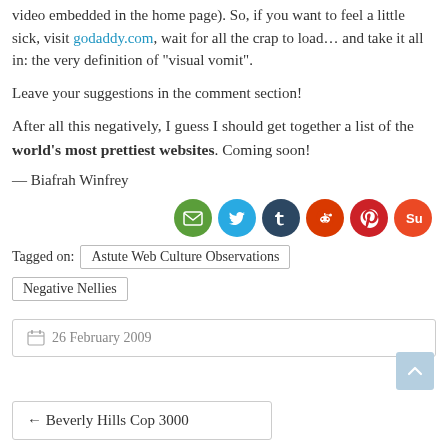video embedded in the home page). So, if you want to feel a little sick, visit godaddy.com, wait for all the crap to load… and take it all in: the very definition of "visual vomit".
Leave your suggestions in the comment section!
After all this negatively, I guess I should get together a list of the world's most prettiest websites. Coming soon!
— Biafrah Winfrey
[Figure (infographic): Row of six social share buttons: email (green), Twitter (blue), Tumblr (dark navy), Reddit (red), Pinterest (red), StumbleUpon (orange-red)]
Tagged on:  Astute Web Culture Observations
Negative Nellies
26 February 2009
[Figure (other): Back to top button, light blue square with upward chevron arrow]
← Beverly Hills Cop 3000